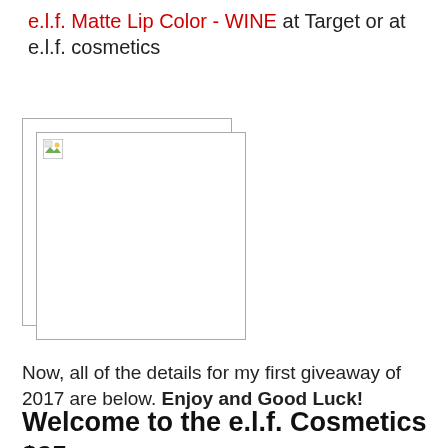e.l.f. Matte Lip Color - WINE at Target or at e.l.f. cosmetics
[Figure (photo): Broken/placeholder image of e.l.f. Matte Lip Color product, shown as a missing image icon inside a bordered rectangle]
Now, all of the details for my first giveaway of 2017 are below. Enjoy and Good Luck!
Welcome to the e.l.f. Cosmetics $25 Gift Card Gi...